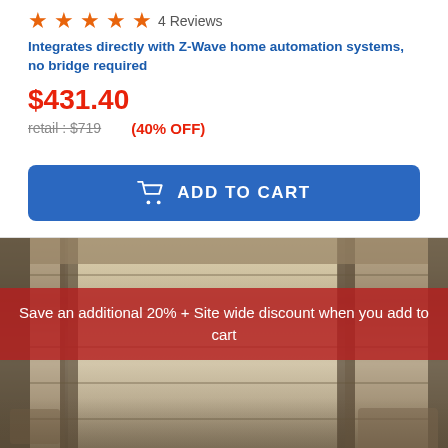★★★★★ 4 Reviews
Integrates directly with Z-Wave home automation systems, no bridge required
$431.40
retail : $719  (40% OFF)
ADD TO CART
[Figure (photo): Interior room with windows and blinds, showing a living room scene]
Save an additional 20% + Site wide discount when you add to cart